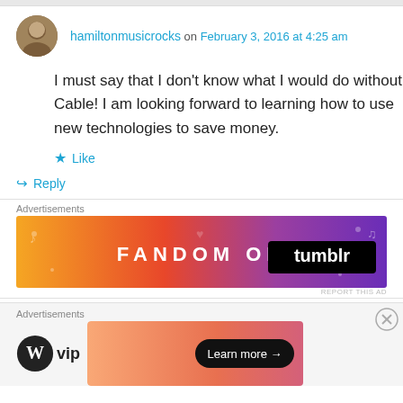hamiltonmusicrocks on February 3, 2016 at 4:25 am
I must say that I don't know what I would do without Cable! I am looking forward to learning how to use new technologies to save money.
Like
Reply
Advertisements
[Figure (screenshot): Fandom on Tumblr advertisement banner with orange-to-purple gradient and decorative music/heart icons]
Advertisements
[Figure (screenshot): WordPress VIP advertisement with logo on left and orange gradient banner with Learn more button on right]